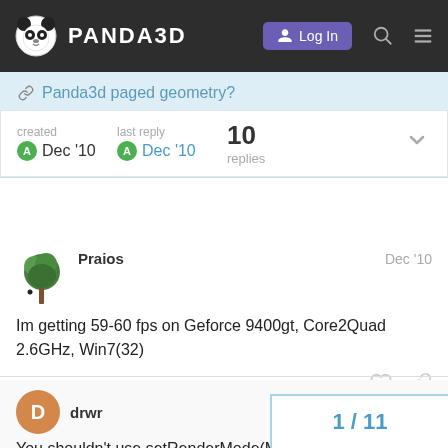PANDA3D — Log In
Panda3d paged geometry?
created Dec '10   last reply Dec '10   10 replies
Praios   Dec '10
Im getting 59-60 fps on Geforce 9400gt, Core2Quad 2.6GHz, Win7(32)
drwr   Dec '10
You shouldn't use setRenderMode(MR
1 / 11